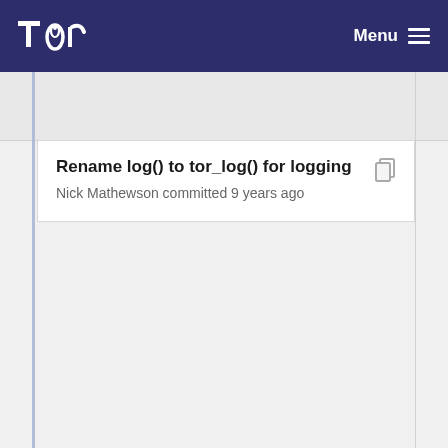Tor — Menu
Rename log() to tor_log() for logging
Nick Mathewson committed 9 years ago